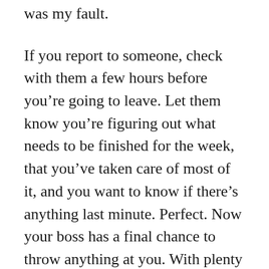was my fault.
If you report to someone, check with them a few hours before you’re going to leave. Let them know you’re figuring out what needs to be finished for the week, that you’ve taken care of most of it, and you want to know if there’s anything last minute. Perfect. Now your boss has a final chance to throw anything at you. With plenty of time for you to finish and leave on time.
For everything that’s in your control, figure out what you want to finish and what you’re going to pick up next week. You need to determine the end for yourself.